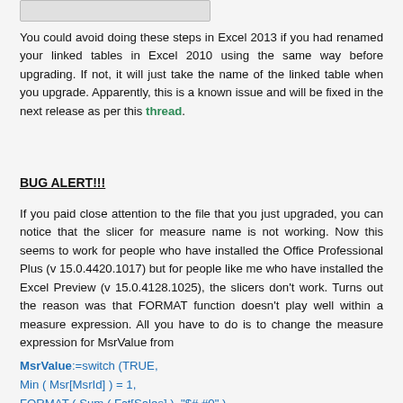[Figure (screenshot): Partial screenshot of a dialog or toolbar at the top of the page]
You could avoid doing these steps in Excel 2013 if you had renamed your linked tables in Excel 2010 using the same way before upgrading. If not, it will just take the name of the linked table when you upgrade. Apparently, this is a known issue and will be fixed in the next release as per this thread.
BUG ALERT!!!
If you paid close attention to the file that you just upgraded, you can notice that the slicer for measure name is not working. Now this seems to work for people who have installed the Office Professional Plus (v 15.0.4420.1017) but for people like me who have installed the Excel Preview (v 15.0.4128.1025), the slicers don't work. Turns out the reason was that FORMAT function doesn't play well within a measure expression. All you have to do is to change the measure expression for MsrValue from
MsrValue:=switch (TRUE,
Min ( Msr[MsrId] ) = 1,
FORMAT ( Sum ( Fct[Sales] ), "$# #0" ),